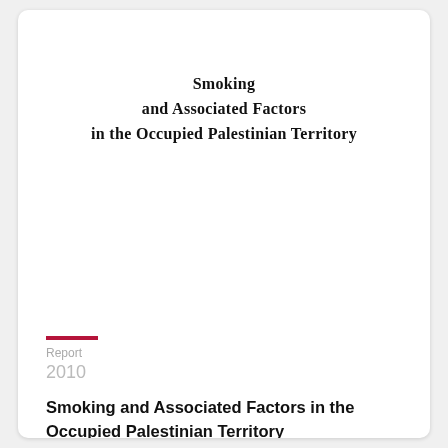Smoking and Associated Factors in the Occupied Palestinian Territory
Report
2010
Smoking and Associated Factors in the Occupied Palestinian Territory